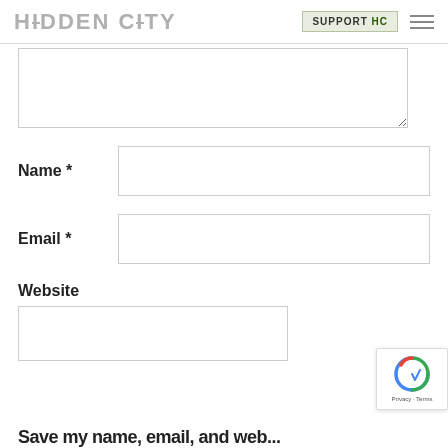HIDDEN CITY | SUPPORT HC
Name *
Email *
Website